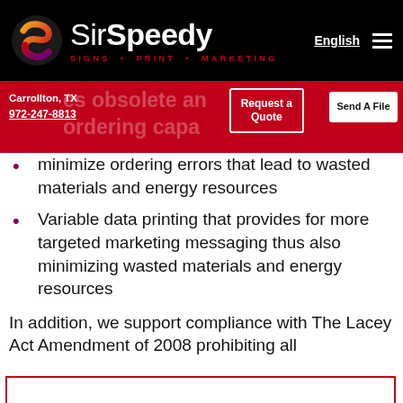SirSpeedy SIGNS · PRINT · MARKETING
Carrollton, TX
972-247-8813
obsolete and renders a
ordering capabilities that
Request a Quote
Send A File
minimize ordering errors that lead to wasted materials and energy resources
Variable data printing that provides for more targeted marketing messaging thus also minimizing wasted materials and energy resources
In addition, we support compliance with The Lacey Act Amendment of 2008 prohibiting all